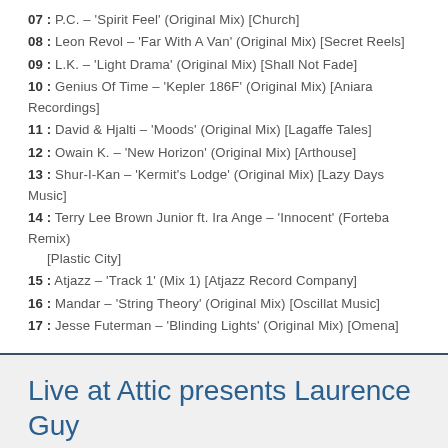07 : P.C. – 'Spirit Feel' (Original Mix) [Church]
08 : Leon Revol – 'Far With A Van' (Original Mix) [Secret Reels]
09 : L.K. – 'Light Drama' (Original Mix) [Shall Not Fade]
10 : Genius Of Time – 'Kepler 186F' (Original Mix) [Aniara Recordings]
11 : David & Hjalti – 'Moods' (Original Mix) [Lagaffe Tales]
12 : Owain K. – 'New Horizon' (Original Mix) [Arthouse]
13 : Shur-I-Kan – 'Kermit's Lodge' (Original Mix) [Lazy Days Music]
14 : Terry Lee Brown Junior ft. Ira Ange – 'Innocent' (Forteba Remix) [Plastic City]
15 : Atjazz – 'Track 1' (Mix 1) [Atjazz Record Company]
16 : Mandar – 'String Theory' (Original Mix) [Oscillat Music]
17 : Jesse Futerman – 'Blinding Lights' (Original Mix) [Omena]
Live at Attic presents Laurence Guy Mix (10th March, 2018)